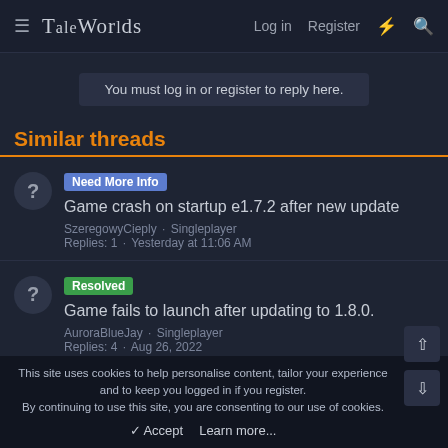TaleWorlds  Log in  Register
You must log in or register to reply here.
Similar threads
[Need More Info] Game crash on startup e1.7.2 after new update
SzeregowyCieply · Singleplayer
Replies: 1 · Yesterday at 11:06 AM
[Resolved] Game fails to launch after updating to 1.8.0.
AuroraBlueJay · Singleplayer
Replies: 4 · Aug 26, 2022
This site uses cookies to help personalise content, tailor your experience and to keep you logged in if you register.
By continuing to use this site, you are consenting to our use of cookies.
✓ Accept  Learn more...